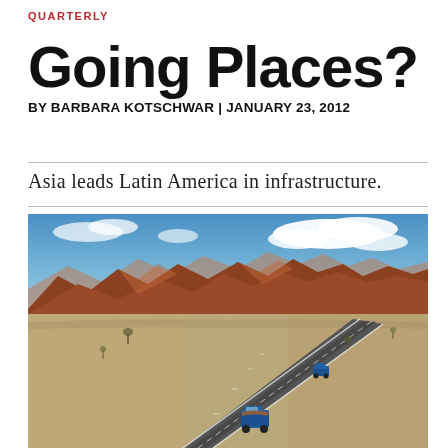QUARTERLY
Going Places?
BY BARBARA KOTSCHWAR | JANUARY 23, 2012
Asia leads Latin America in infrastructure.
[Figure (photo): Aerial view of a straight highway cutting through a vast desert landscape with reddish-brown mountains in the background under a blue sky with clouds. Two blue trucks are visible on the road.]